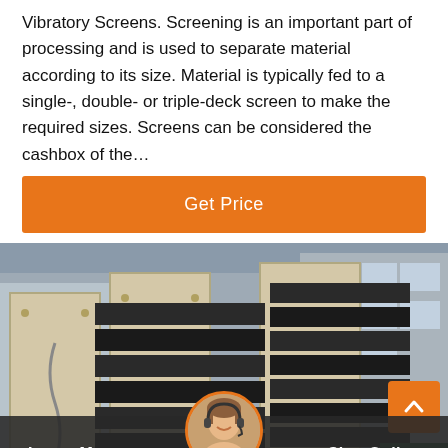Vibratory Screens. Screening is an important part of processing and is used to separate material according to its size. Material is typically fed to a single-, double- or triple-deck screen to make the required sizes. Screens can be considered the cashbox of the…
Get Price
[Figure (photo): Industrial vibratory screen machinery with black metal frames stacked, photographed in a factory/warehouse setting with beige metal structures visible]
Leave Message
Chat Online